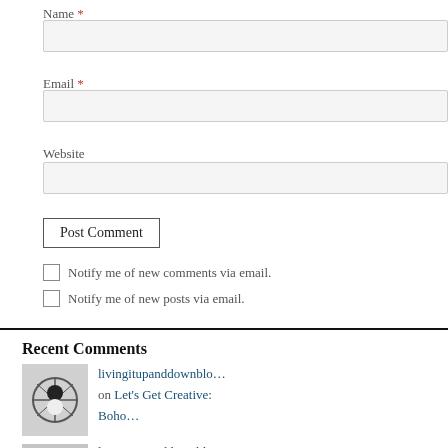Name *
[Figure (screenshot): Text input field for Name]
Email *
[Figure (screenshot): Text input field for Email]
Website
[Figure (screenshot): Text input field for Website]
Post Comment button
Notify me of new comments via email.
Notify me of new posts via email.
Recent Comments
livingitupanddownblo… on Let's Get Creative: Boho…
livingitupanddownblo…